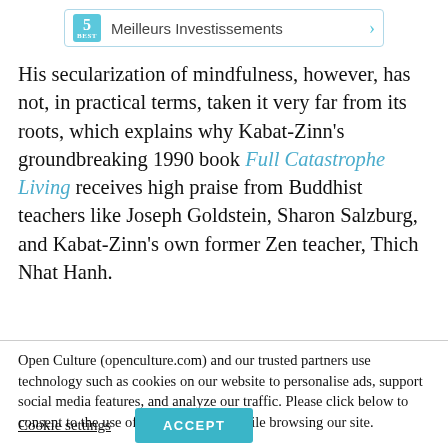[Figure (other): Ad banner showing '5' with label 'Meilleurs Investissements' and a right arrow, styled with light blue border and teal number box.]
His secularization of mindfulness, however, has not, in practical terms, taken it very far from its roots, which explains why Kabat-Zinn's groundbreaking 1990 book Full Catastrophe Living receives high praise from Buddhist teachers like Joseph Goldstein, Sharon Salzburg, and Kabat-Zinn's own former Zen teacher, Thich Nhat Hanh.
Open Culture (openculture.com) and our trusted partners use technology such as cookies on our website to personalise ads, support social media features, and analyze our traffic. Please click below to consent to the use of this technology while browsing our site.
Cookie settings   ACCEPT